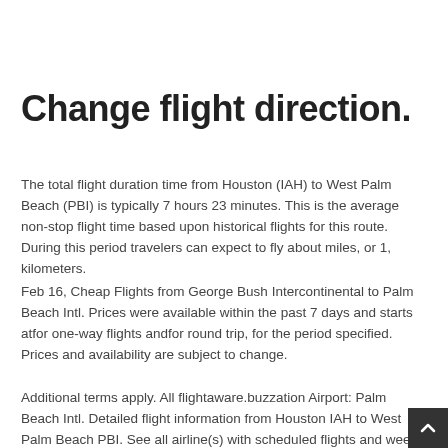Change flight direction.
The total flight duration time from Houston (IAH) to West Palm Beach (PBI) is typically 7 hours 23 minutes. This is the average non-stop flight time based upon historical flights for this route. During this period travelers can expect to fly about miles, or 1, kilometers.
Feb 16, Cheap Flights from George Bush Intercontinental to Palm Beach Intl. Prices were available within the past 7 days and starts atfor one-way flights andfor round trip, for the period specified. Prices and availability are subject to change.
Additional terms apply. All flightaware.buzzation Airport: Palm Beach Intl. Detailed flight information from Houston IAH to West Palm Beach PBI. See all airline(s) with scheduled flights and weekly timetables up to 9 months ahead. Flightnumbers and